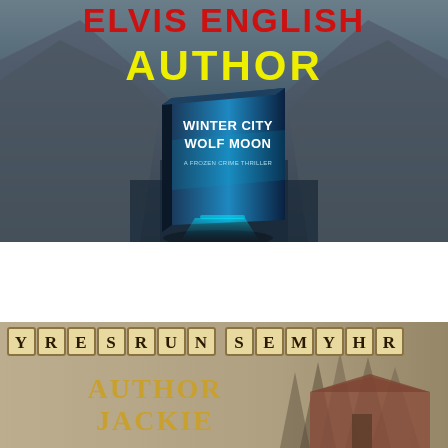[Figure (illustration): Top banner image showing mountainous fjord landscape with teal/dark blue sky, featuring a 3D book cover 'Winter City Wolf Moon – A Frozen Crime Thriller' centered. Bold red text 'ELVIS ENGLISH' and yellow text 'AUTHOR' overlaid at top.]
[Figure (illustration): Bottom banner showing a rustic barn/cabin scene in muted brown-gray tones with pine trees. Scrabble tiles row spelling 'YRESRUN SEMYHR' across the top. Yellow-gold text 'AUTHOR JACKIE' overlaid in center-left.]